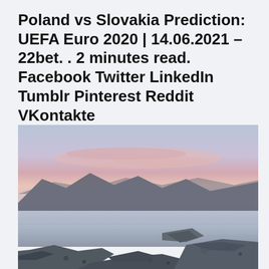Poland vs Slovakia Prediction: UEFA Euro 2020 | 14.06.2021 – 22bet. . 2 minutes read. Facebook Twitter LinkedIn Tumblr Pinterest Reddit VKontakte
[Figure (photo): Landscape photo of a calm lake or sea at dusk/sunset with rocky shore in the foreground, mountains/hills in the background, and a pastel pink and blue sky.]